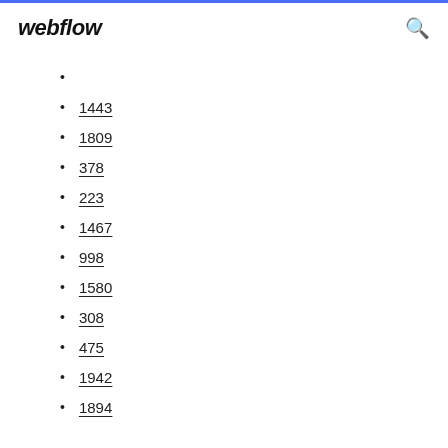webflow
1443
1809
378
223
1467
998
1580
308
475
1942
1894